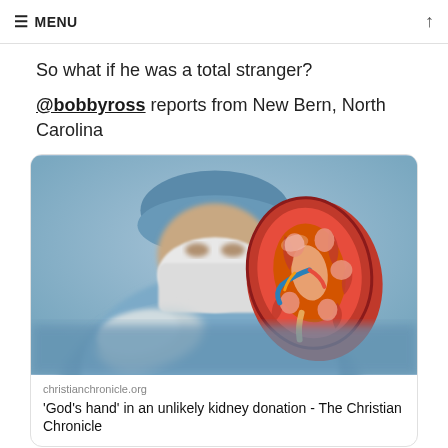≡ MENU ↑
So what if he was a total stranger?
@bobbyross reports from New Bern, North Carolina
[Figure (photo): A surgeon in blue scrubs, surgical cap and mask, holding a anatomical model of a kidney cross-section showing internal structures in red, orange and blue tones.]
christianchronicle.org
'God's hand' in an unlikely kidney donation - The Christian Chronicle